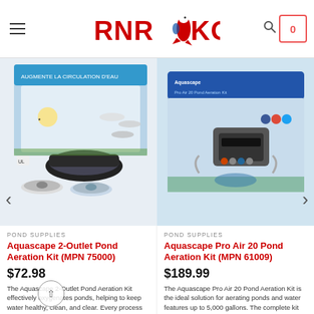[Figure (screenshot): RNR Koi website header with logo, hamburger menu, search icon, and cart icon showing 0 items]
[Figure (photo): Two product images side by side: left shows Aquascape 2-Outlet Pond Aeration Kit box, right shows Aquascape Pro Air 20 Pond Aeration Kit box]
POND SUPPLIES
Aquascape 2-Outlet Pond Aeration Kit (MPN 75000)
$72.98
The Aquascape 2-Outlet Pond Aeration Kit effectively oxygenates ponds, helping to keep water healthy, clean, and clear. Every process that occurs in your pond is dependent on oxygen. This is especially important in warmer temperatures or at night when plants are not converting sunlight into oxygen. Aeration can also be used during cold winter months [...]
POND SUPPLIES
Aquascape Pro Air 20 Pond Aeration Kit (MPN 61009)
$189.99
The Aquascape Pro Air 20 Pond Aeration Kit is the ideal solution for aerating ponds and water features up to 5,000 gallons. The complete kit provides everything needed to supply dissolved oxygen directly to pond water, helping all biological processes and ensuring healthier water, fish, and plants. The system can also be used during freezing [...]